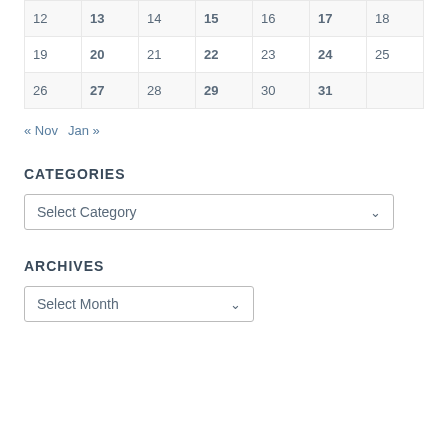| 12 | 13 | 14 | 15 | 16 | 17 | 18 |
| 19 | 20 | 21 | 22 | 23 | 24 | 25 |
| 26 | 27 | 28 | 29 | 30 | 31 |  |
« Nov   Jan »
CATEGORIES
Select Category
ARCHIVES
Select Month